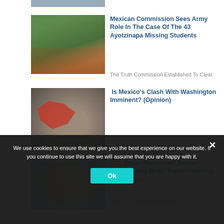[Figure (photo): Partial top image, cropped]
[Figure (photo): People with raised fists protesting - Ayotzinapa students case]
Mexican Commission Sees Army Role In The Case Of The 43 Ayotzinapa Missing Students
The Truth Commission Established To Clear.
[Figure (photo): Mexican president in front of map of Mexico]
Is Mexico’s Clash With Washington Imminent? (Opinion)
Andrés Oppenheimer Is The Editor And.
[Figure (photo): U.S. State Department seal/document]
U.S. State Department Issues “Kidnapping Risk” Travel Advisory For Mexico
The U.S. State Department
We use cookies to ensure that we give you the best experience on our website. If you continue to use this site we will assume that you are happy with it.